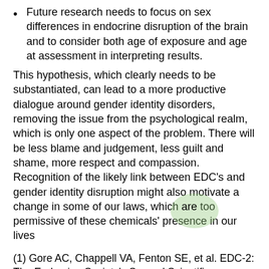Future research needs to focus on sex differences in endocrine disruption of the brain and to consider both age of exposure and age at assessment in interpreting results.
This hypothesis, which clearly needs to be substantiated, can lead to a more productive dialogue around gender identity disorders, removing the issue from the psychological realm, which is only one aspect of the problem. There will be less blame and judgement, less guilt and shame, more respect and compassion. Recognition of the likely link between EDC's and gender identity disruption might also motivate a change in some of our laws, which are too permissive of these chemicals' presence in our lives
(1) Gore AC, Chappell VA, Fenton SE, et al. EDC-2: The Endocrine Society's Second Scientific Statement on Endocrine-Disrupting Chemicals. Endocr Rev.